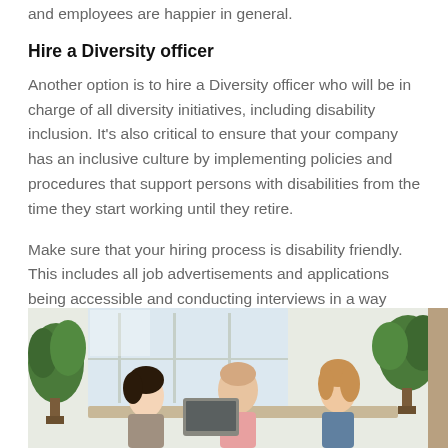and employees are happier in general.
Hire a Diversity officer
Another option is to hire a Diversity officer who will be in charge of all diversity initiatives, including disability inclusion. It's also critical to ensure that your company has an inclusive culture by implementing policies and procedures that support persons with disabilities from the time they start working until they retire.
Make sure that your hiring process is disability friendly. This includes all job advertisements and applications being accessible and conducting interviews in a way that's respectful of an individual's disability.
[Figure (photo): A group of people sitting around a table in a bright office meeting room with large windows and plants. Three visible people: two women and one bald man in a pink shirt, appearing to be in conversation or a meeting.]